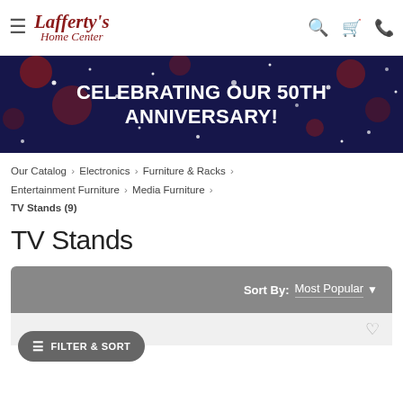Lafferty's Home Center — navigation header with hamburger menu, logo, search, cart, and phone icons
[Figure (illustration): Dark navy blue banner with sparkles/confetti celebrating 50th anniversary. Text reads: CELEBRATING OUR 50TH ANNIVERSARY!]
Our Catalog › Electronics › Furniture & Racks › Entertainment Furniture › Media Furniture › TV Stands (9)
TV Stands
Sort By: Most Popular ▼  FILTER & SORT